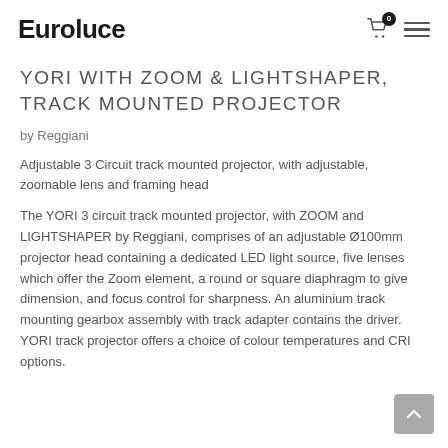Euroluce
YORI WITH ZOOM & LIGHTSHAPER, TRACK MOUNTED PROJECTOR
by Reggiani
Adjustable 3 Circuit track mounted projector, with adjustable, zoomable lens and framing head
The YORI 3 circuit track mounted projector, with ZOOM and LIGHTSHAPER by Reggiani, comprises of an adjustable Ø100mm projector head containing a dedicated LED light source, five lenses which offer the Zoom element, a round or square diaphragm to give dimension, and focus control for sharpness. An aluminium track mounting gearbox assembly with track adapter contains the driver. YORI track projector offers a choice of colour temperatures and CRI options.